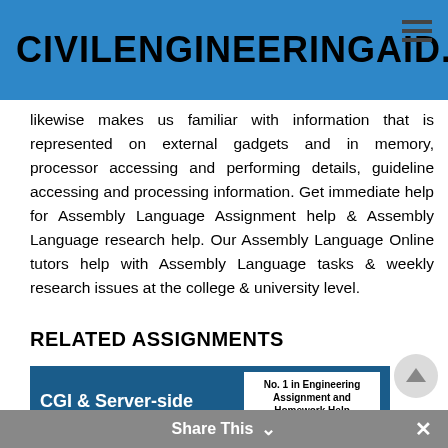CIVILENGINEERINGAID.XYZ
likewise makes us familiar with information that is represented on external gadgets and in memory, processor accessing and performing details, guideline accessing and processing information. Get immediate help for Assembly Language Assignment help & Assembly Language research help. Our Assembly Language Online tutors help with Assembly Language tasks & weekly research issues at the college & university level.
RELATED ASSIGNMENTS
[Figure (illustration): CGI & Server-side assignment help image showing a diagram with CGI HTTP Server and a badge reading 'No. 1 in Engineering Assignment and Homework Help']